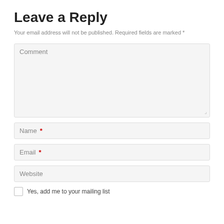Leave a Reply
Your email address will not be published. Required fields are marked *
Comment
Name *
Email *
Website
Yes, add me to your mailing list